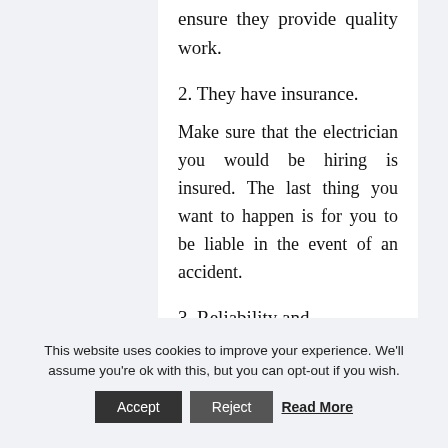they always get their out to ensure they provide quality work.
2. They have insurance.
Make sure that the electrician you would be hiring is insured. The last thing you want to happen is for you to be liable in the event of an accident.
3. Reliability and professionalism.
This website uses cookies to improve your experience. We'll assume you're ok with this, but you can opt-out if you wish.